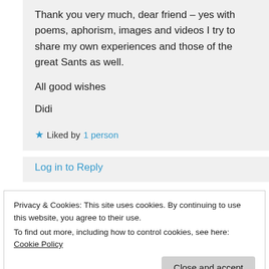Thank you very much, dear friend – yes with poems, aphorism, images and videos I try to share my own experiences and those of the great Sants as well.

All good wishes
Didi
★ Liked by 1 person
Log in to Reply
Privacy & Cookies: This site uses cookies. By continuing to use this website, you agree to their use.
To find out more, including how to control cookies, see here: Cookie Policy
Close and accept
★ Liked by 2 people